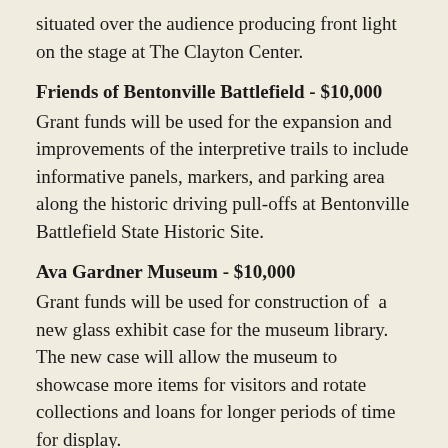situated over the audience producing front light on the stage at The Clayton Center.
Friends of Bentonville Battlefield - $10,000
Grant funds will be used for the expansion and improvements of the interpretive trails to include informative panels, markers, and parking area along the historic driving pull-offs at Bentonville Battlefield State Historic Site.
Ava Gardner Museum - $10,000
Grant funds will be used for construction of a new glass exhibit case for the museum library. The new case will allow the museum to showcase more items for visitors and rotate collections and loans for longer periods of time for display.